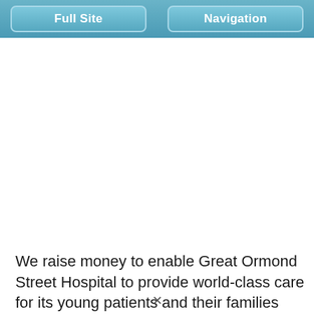Full Site | Navigation
We raise money to enable Great Ormond Street Hospital to provide world-class care for its young patients and their families and to pioneer new treatments and cures for childhood illness by: